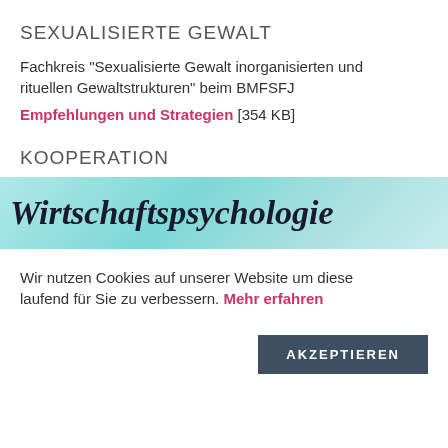SEXUALISIERTE GEWALT
Fachkreis "Sexualisierte Gewalt inorganisierten und rituellen Gewaltstrukturen" beim BMFSFJ
Empfehlungen und Strategien [354 KB]
KOOPERATION
[Figure (logo): Banner with teal/turquoise gradient background showing the text 'Wirtschaftspsychologie' in large bold italic serif font]
Wir nutzen Cookies auf unserer Website um diese laufend für Sie zu verbessern. Mehr erfahren
AKZEPTIEREN